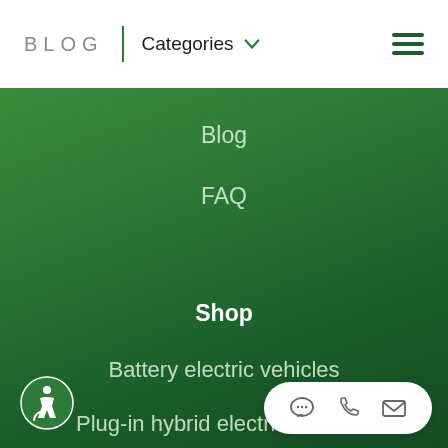BLOG | Categories
Blog
FAQ
Shop
Battery electric vehicles
Plug-in hybrid electric vehicles
Hybrid electric ve…